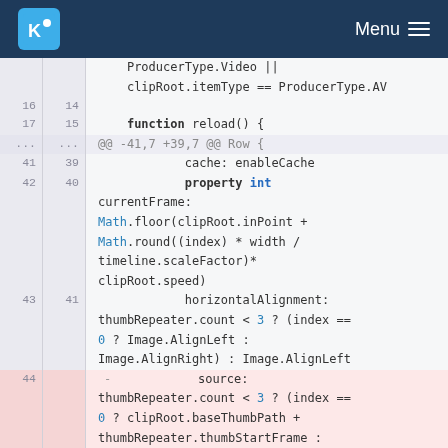KDE Menu
Code diff view showing QML source code changes. Lines 16-44 of a diff showing changes to a Row component including function reload(), cache: enableCache, property int currentFrame with Math.floor and Math.round calculations, horizontalAlignment binding, and a deleted source: binding with thumbRepeater.count conditions.